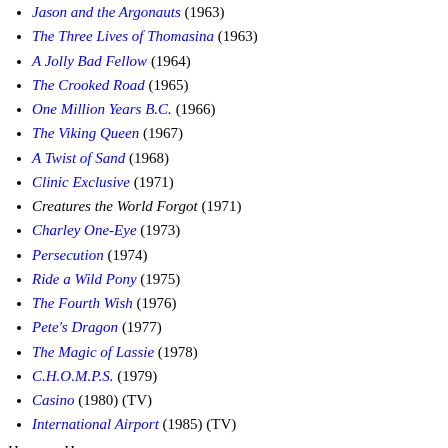Jason and the Argonauts (1963)
The Three Lives of Thomasina (1963)
A Jolly Bad Fellow (1964)
The Crooked Road (1965)
One Million Years B.C. (1966)
The Viking Queen (1967)
A Twist of Sand (1968)
Clinic Exclusive (1971)
Creatures the World Forgot (1971)
Charley One-Eye (1973)
Persecution (1974)
Ride a Wild Pony (1975)
The Fourth Wish (1976)
Pete's Dragon (1977)
The Magic of Lassie (1978)
C.H.O.M.P.S. (1979)
Casino (1980) (TV)
International Airport (1985) (TV)
Hammer Horror
Hammer Horror
The Quatermass Xperiment (1955)
X the Unknown (1956)
Quatermass 2 (1957)
Quatermass